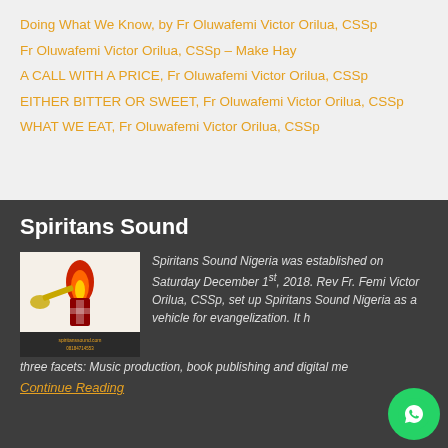Doing What We Know, by Fr Oluwafemi Victor Orilua, CSSp
Fr Oluwafemi Victor Orilua, CSSp – Make Hay
A CALL WITH A PRICE, Fr Oluwafemi Victor Orilua, CSSp
EITHER BITTER OR SWEET, Fr Oluwafemi Victor Orilua, CSSp
WHAT WE EAT, Fr Oluwafemi Victor Orilua, CSSp
Spiritans Sound
[Figure (logo): Spiritans Sound Nigeria logo with flame and trumpet emblem and contact details]
Spiritans Sound Nigeria was established on Saturday December 1st, 2018. Rev Fr. Femi Victor Orilua, CSSp, set up Spiritans Sound Nigeria as a vehicle for evangelization. It has three facets: Music production, book publishing and digital me...
Continue Reading